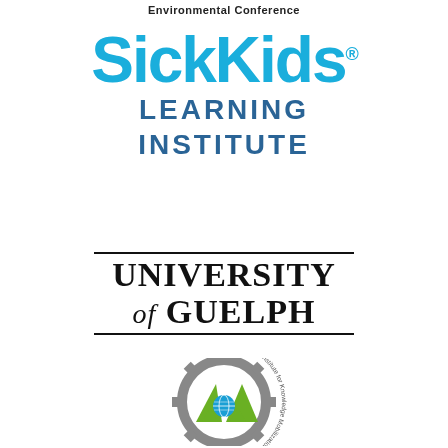Environmental Conference
[Figure (logo): SickKids Learning Institute logo — 'SickKids' in large bold cyan/blue text with registered trademark symbol, 'LEARNING INSTITUTE' in blue spaced letters below]
[Figure (logo): University of Guelph logo — 'UNIVERSITY of GUELPH' in serif black bold text with horizontal rules above and below]
[Figure (logo): Institute for Knowledge Mobilization circular logo — gear border with green mountain/arrow shapes and globe icon, text around the circle reads 'Institute for Knowledge Mobilization']